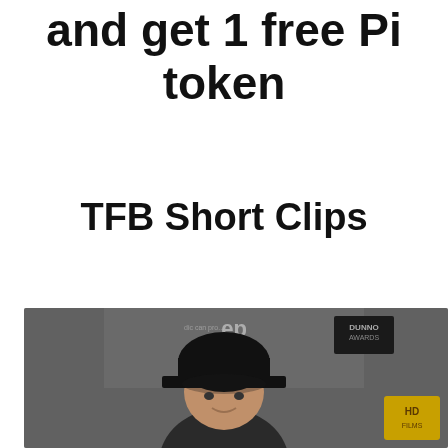and get 1 free Pi token
TFB Short Clips
[Figure (photo): A man wearing a black baseball cap at what appears to be an entertainment event with a dark backdrop and sponsor logos including a gold badge on the right.]